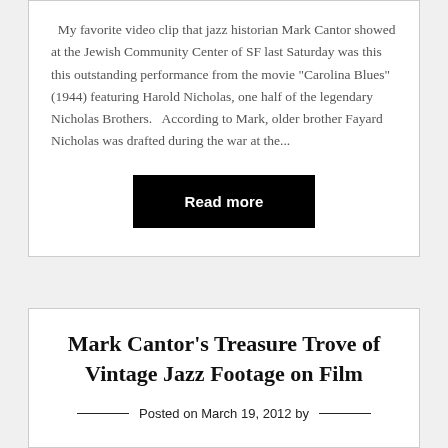My favorite video clip that jazz historian Mark Cantor showed at the Jewish Community Center of SF last Saturday was this this outstanding performance from the movie "Carolina Blues" (1944) featuring Harold Nicholas, one half of the legendary Nicholas Brothers.   According to Mark, older brother Fayard Nicholas was drafted during the war at the...
Read more
Mark Cantor's Treasure Trove of Vintage Jazz Footage on Film
Posted on March 19, 2012 by